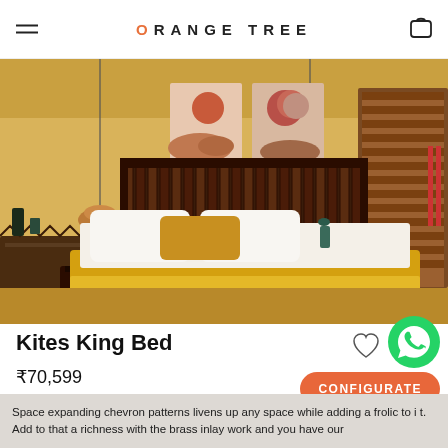ORANGE TREE
[Figure (photo): Bedroom interior showing the Kites King Bed with a dark wood zigzag/chevron headboard, yellow bedding, white pillows, yellow mustard accent pillow, pendant lights, decorative wall art (sun and moon prints), and wooden shuttered windows on warm yellow walls.]
Kites King Bed
₹70,599
CONFIGURATE
Space expanding chevron patterns livens up any space while adding a frolic to it. Add to that a richness with the brass inlay work and you have our